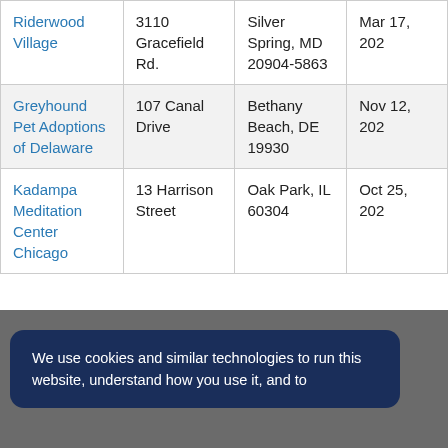| Organization | Address | City/State/ZIP | Date |
| --- | --- | --- | --- |
| Riderwood Village | 3110 Gracefield Rd. | Silver Spring, MD 20904-5863 | Mar 17, 202... |
| Greyhound Pet Adoptions of Delaware | 107 Canal Drive | Bethany Beach, DE 19930 | Nov 12, 202... |
| Kadampa Meditation Center Chicago | 13 Harrison Street | Oak Park, IL 60304 | Oct 25, 202... |
We use cookies and similar technologies to run this website, understand how you use it, and to